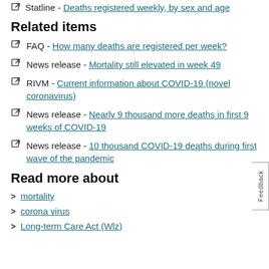Statline - Deaths registered weekly, by sex and age
Related items
FAQ - How many deaths are registered per week?
News release - Mortality still elevated in week 49
RIVM - Current information about COVID-19 (novel coronavirus)
News release - Nearly 9 thousand more deaths in first 9 weeks of COVID-19
News release - 10 thousand COVID-19 deaths during first wave of the pandemic
Read more about
mortality
corona virus
Long-term Care Act (Wlz)